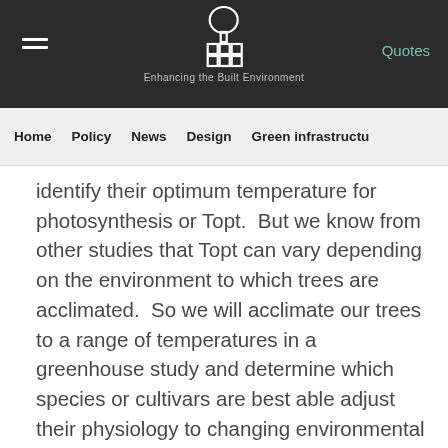Enhancing the Built Environment — Quotes
Home   Policy   News   Design   Green infrastructure
identify their optimum temperature for photosynthesis or Topt.  But we know from other studies that Topt can vary depending on the environment to which trees are acclimated.  So we will acclimate our trees to a range of temperatures in a greenhouse study and determine which species or cultivars are best able adjust their physiology to changing environmental conditions.  In addition to the greenhouse study we will out-plant trees from the same cultivars in a parallel field study with the